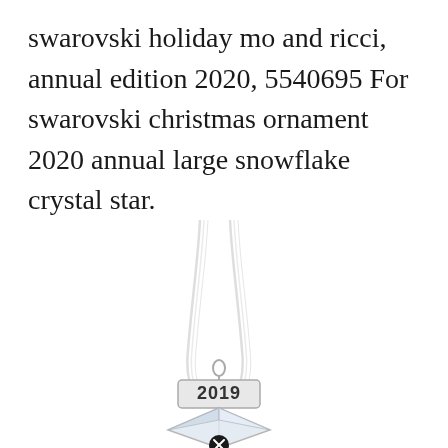swarovski holiday mo and ricci, annual edition 2020, 5540695 For swarovski christmas ornament 2020 annual large snowflake crystal star.
[Figure (photo): A Swarovski crystal star ornament (labeled 2019) hanging from a sheer white ribbon, with a geometric star/diamond shape in silver crystal and a black X icon at the bottom of the visible portion.]